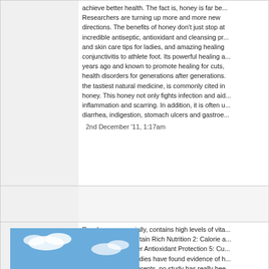achieve better health. The fact is, honey is far be... Researchers are turning up more and more new directions. The benefits of honey don't just stop at incredible antiseptic, antioxidant and cleansing pr... and skin care tips for ladies, and amazing healing conjunctivitis to athlete foot. Its powerful healing a... years ago and known to promote healing for cuts, health disorders for generations after generations. the tastiest natural medicine, is commonly cited in honey. This honey not only fights infection and aid... inflammation and scarring. In addition, it is often u... diarrhea, indigestion, stomach ulcers and gastroe...
2nd December '11, 1:17am
[Figure (photo): Person running on a hillside holding an Australian flag against a blue sky with water in background]
Raw honey, especially, contains high levels of vita... amino acids. 1: Contain Rich Nutrition 2: Calorie a... Performance 4: Offer Antioxidant Protection 5: Cu... While the above studies have found evidence of h... children and their parents, no study has really bee... bedtime will promote higher quality sleep for peop... Michael McInnes of the Royal Pharmaceutical So...